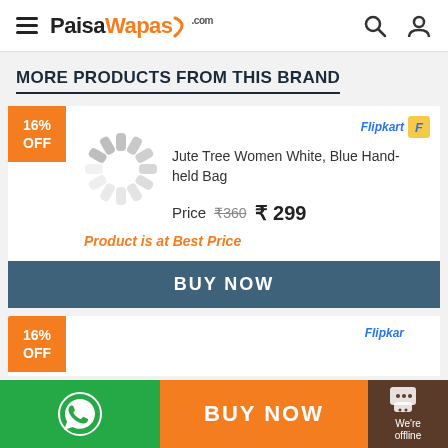PaisaWapas.com
MORE PRODUCTS FROM THIS BRAND
16% OFF
[Figure (logo): Flipkart logo]
Jute Tree Women White, Blue Hand-held Bag
Price ₹360 ₹299
Product is at Best Price
BUY NOW
16% OFF
[Figure (logo): Flipkart logo partial]
BUY NOW
We're offline